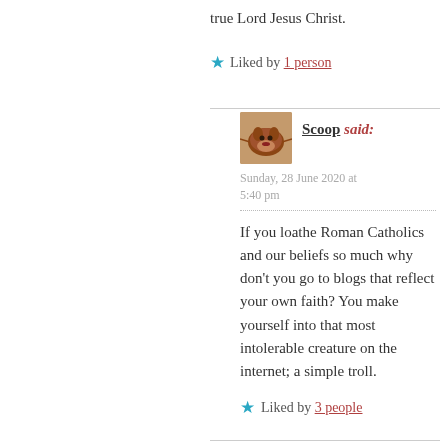true Lord Jesus Christ.
★ Liked by 1 person
Scoop said:
Sunday, 28 June 2020 at 5:40 pm
If you loathe Roman Catholics and our beliefs so much why don't you go to blogs that reflect your own faith? You make yourself into that most intolerable creature on the internet; a simple troll.
★ Liked by 3 people